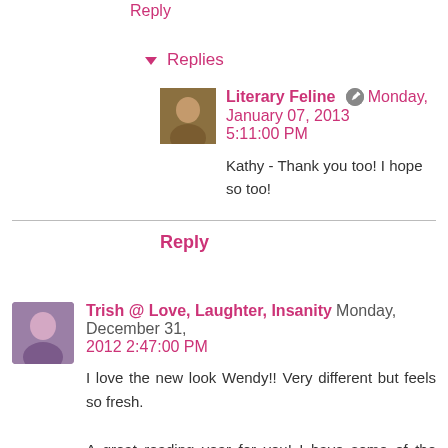Reply
Replies
Literary Feline  Monday, January 07, 2013 5:11:00 PM
Kathy - Thank you too! I hope so too!
Reply
Trish @ Love, Laughter, Insanity  Monday, December 31, 2012 2:47:00 PM
I love the new look Wendy!! Very different but feels so fresh.

A great reading year for you! I have some of the same reservations about this year ending but I so look forward to what the months ahead will reveal. Every week with Elle seems to be becoming more fun (and at times more challenging) and I'm constantly delighted with the joys.